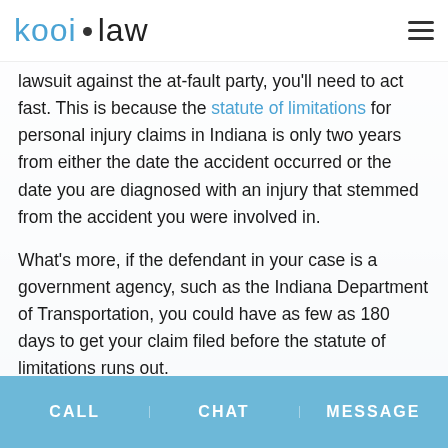kooi • law
lawsuit against the at-fault party, you'll need to act fast. This is because the statute of limitations for personal injury claims in Indiana is only two years from either the date the accident occurred or the date you are diagnosed with an injury that stemmed from the accident you were involved in.
What's more, if the defendant in your case is a government agency, such as the Indiana Department of Transportation, you could have as few as 180 days to get your claim filed before the statute of limitations runs out.
CALL   CHAT   MESSAGE